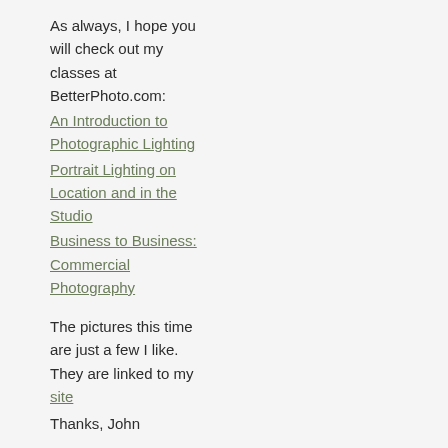As always, I hope you will check out my classes at BetterPhoto.com:
An Introduction to Photographic Lighting
Portrait Lighting on Location and in the Studio
Business to Business: Commercial Photography
The pictures this time are just a few I like. They are linked to my site
Thanks, John